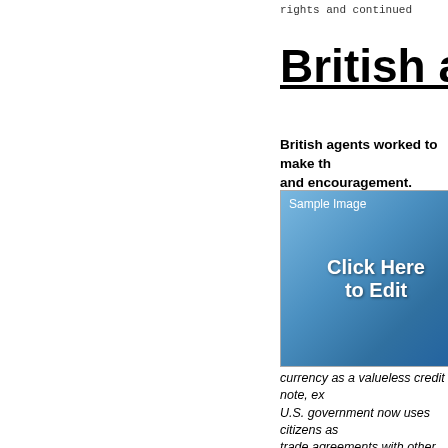rights and continued
British agents
British agents worked to make th... and encouragement.
[Figure (photo): Sample image placeholder with 'Click Here to Edit' text on blue gradient background]
Illegal Ac... Alfred P. ... Oklahoma ... banks, cr... believe th... currency as a valueless credit note, ex... U.S. government now uses citizens as... trade agreements with other countries... Direct account, valued from $630,000 ... "strawman," that they can access, whi... extorting money from the U.S. Treasu... forms for illegitimate purposes, believ... card debts, taxes, and mortgages.3
At a minimum, these activities create a... But, the idea behind the Redemption T...